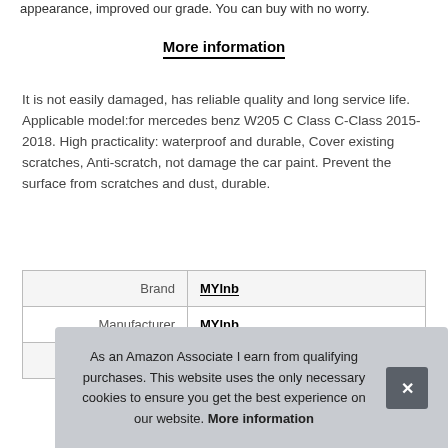appearance, improved our grade. You can buy with no worry.
More information
It is not easily damaged, has reliable quality and long service life. Applicable model:for mercedes benz W205 C Class C-Class 2015-2018. High practicality: waterproof and durable, Cover existing scratches, Anti-scratch, not damage the car paint. Prevent the surface from scratches and dust, durable.
| Brand | MYlnb |
| Manufacturer | MYlnb |
| P |  |
As an Amazon Associate I earn from qualifying purchases. This website uses the only necessary cookies to ensure you get the best experience on our website. More information